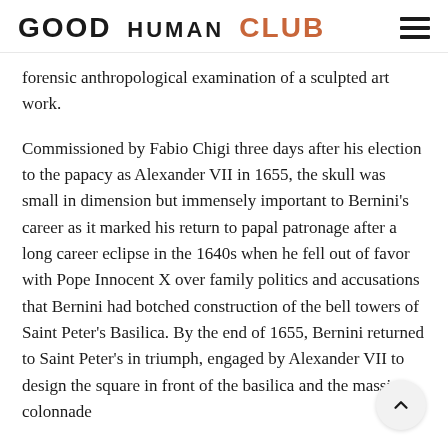GOOD HUMAN CLUB
forensic anthropological examination of a sculpted art work.
Commissioned by Fabio Chigi three days after his election to the papacy as Alexander VII in 1655, the skull was small in dimension but immensely important to Bernini’s career as it marked his return to papal patronage after a long career eclipse in the 1640s when he fell out of favor with Pope Innocent X over family politics and accusations that Bernini had botched construction of the bell towers of Saint Peter’s Basilica. By the end of 1655, Bernini returned to Saint Peter’s in triumph, engaged by Alexander VII to design the square in front of the basilica and the massive colonnade